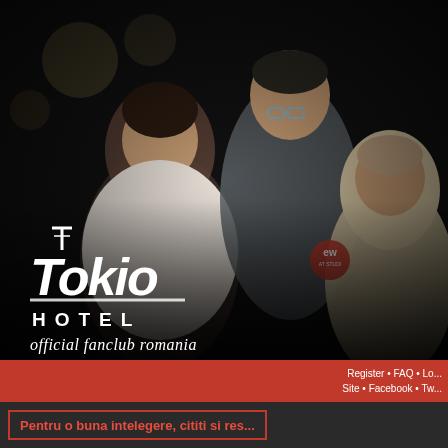[Figure (photo): Tokio Hotel band members photo in a dark studio setting, three men visible, with Tokio Hotel official fanclub Romania logo overlaid]
Register • FAQ • Lo... Site • Facebook • Tw...
Pentru o buna intelegere, cititi si res...